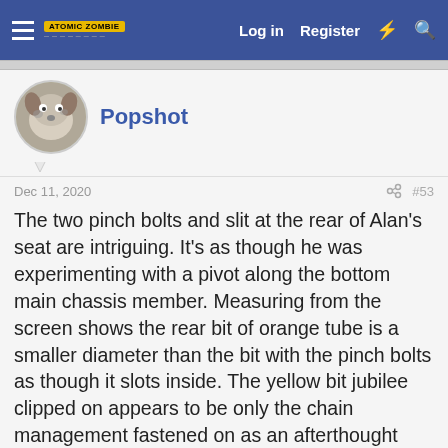Log in  Register
Popshot
Dec 11, 2020  #53
The two pinch bolts and slit at the rear of Alan's seat are intriguing. It's as though he was experimenting with a pivot along the bottom main chassis member. Measuring from the screen shows the rear bit of orange tube is a smaller diameter than the bit with the pinch bolts as though it slots inside. The yellow bit jubilee clipped on appears to be only the chain management fastened on as an afterthought and nothing to do with the reason for the pinch bolts.
[Figure (photo): Partial view of a bicycle frame with orange and metal tubes visible]